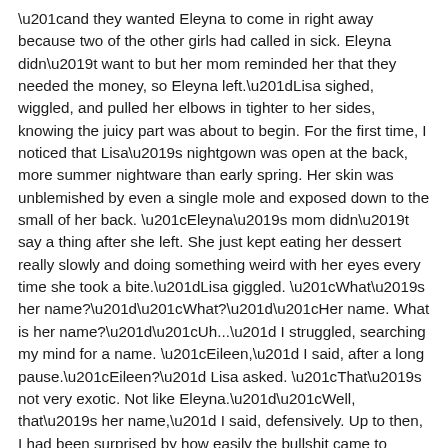“and they wanted Eleyna to come in right away because two of the other girls had called in sick. Eleyna didn’t want to but her mom reminded her that they needed the money, so Eleyna left.”Lisa sighed, wiggled, and pulled her elbows in tighter to her sides, knowing the juicy part was about to begin. For the first time, I noticed that Lisa’s nightgown was open at the back, more summer nightware than early spring. Her skin was unblemished by even a single mole and exposed down to the small of her back. “Eleyna’s mom didn’t say a thing after she left. She just kept eating her dessert really slowly and doing something weird with her eyes every time she took a bite.”Lisa giggled. “What’s her name?”“What?”“Her name. What is her name?”“Uh...” I struggled, searching my mind for a name. “Eileen,” I said, after a long pause.“Eileen?” Lisa asked. “That’s not very exotic. Not like Eleyna.”“Well, that’s her name,” I said, defensively. Up to then, I had been surprised by how easily the bullshit came to me.“Hmmmphhh.” “Anyway, as I was saying before I was so rudely interrupted. Eleyna’s mom.. Eileen, kept throwing me these seductive looks until we had finished our desserts. Then artemisbet giriş she said, Well, I hope you